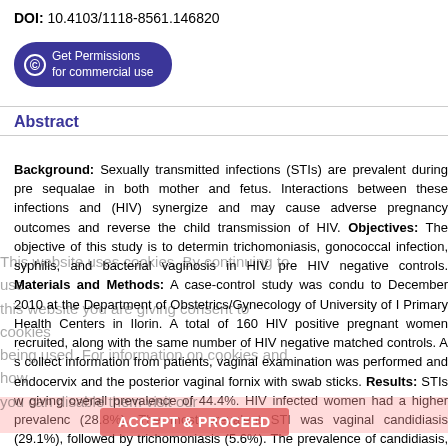DOI: 10.4103/1118-8561.146820
[Figure (other): Get Permissions for commercial use button with copyright symbol, dark blue rounded rectangle]
Abstract
Background: Sexually transmitted infections (STIs) are prevalent during pre... sequalae in both mother and fetus. Interactions between these infections and (HIV) synergize and may cause adverse pregnancy outcomes and reverse the child transmission of HIV. Objectives: The objective of this study is to determine trichomoniasis, gonococcal infection, syphilis, and bacterial vaginosis in HIV pre HIV negative controls. Materials and Methods: A case-control study was condu to December 2010 at the Department of Obstetrics/Gynecology of University of Primary Health Centers in Ilorin. A total of 160 HIV positive pregnant women recruited, along with the same number of HIV negative matched controls. A s collect information from patients, vaginal examination was performed and endocervix and the posterior vaginal fornix with swab sticks. Results: STIs w giving overall prevalence of 44.4%. HIV infected women had a higher prevalence (28.8%). The most prevalent STI was vaginal candidiasis (29.1%), followed by trichomoniasis (5.6%). The prevalence of candidiasis, bacterial vaginosis, and t HIV positive pregnant women compared to HIV negative controls (P < 0.0 gonorrhea. Conclusion: The prevalence of candidiasis, bacterial vaginosis and infected pregnant women compared to uninfected. Routine screening of HIV inf organisms is advocated.